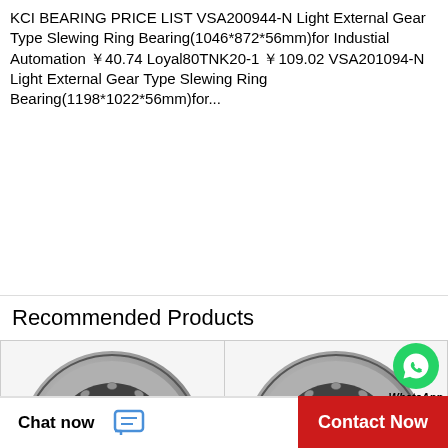KCI BEARING PRICE LIST VSA200944-N Light External Gear Type Slewing Ring Bearing(1046*872*56mm)for Industial Automation ￥40.74 Loyal80TNK20-1 ￥109.02 VSA201094-N Light External Gear Type Slewing Ring Bearing(1198*1022*56mm)for...
Recommended Products
[Figure (photo): Two tapered roller bearings (TIMKEN brand) shown side by side as product images. The right image has a WhatsApp Online overlay in the top-right corner.]
WhatsApp Online
Chat now
Contact Now